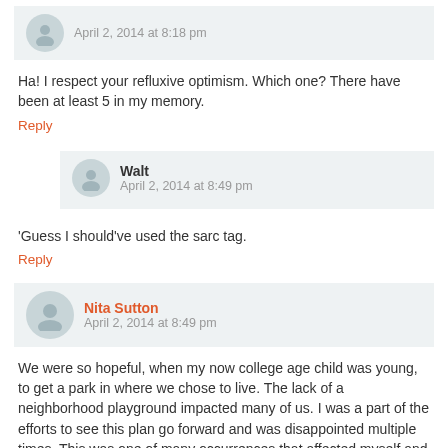April 2, 2014 at 8:18 pm
Ha! I respect your refluxive optimism. Which one? There have been at least 5 in my memory.
Reply
Walt
April 2, 2014 at 8:49 pm
'Guess I should've used the sarc tag.
Reply
Nita Sutton
April 2, 2014 at 8:49 pm
We were so hopeful, when my now college age child was young, to get a park in where we chose to live. The lack of a neighborhood playground impacted many of us. I was a part of the efforts to see this plan go forward and was disappointed multiple times. This was one of many occurrences that affected myself and my family's attitude about living in Newburgh. I do see positive changes in this potentially lovely city, and I truly hope this plan is realized. So sorry it did not happen in Mary Crabb's lifetime.
Reply
drew kartiganer